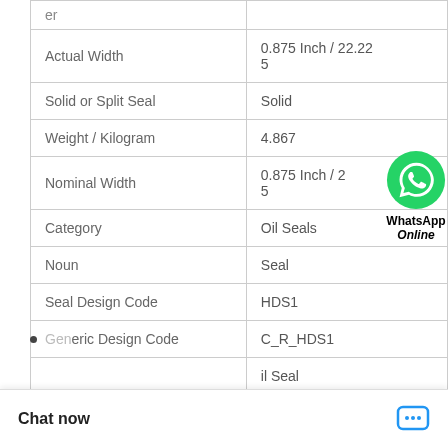| Property | Value |
| --- | --- |
| er |  |
| Actual Width | 0.875 Inch / 22.225 |
| Solid or Split Seal | Solid |
| Weight / Kilogram | 4.867 |
| Nominal Width | 0.875 Inch / 22.225 |
| Category | Oil Seals |
| Noun | Seal |
| Seal Design Code | HDS1 |
| Generic Design Code | C_R_HDS1 |
|  | il Seal |